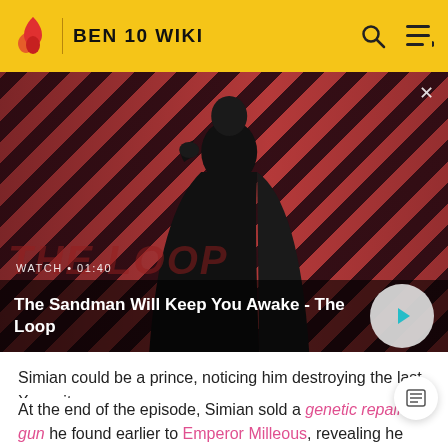BEN 10 WIKI
[Figure (screenshot): Video thumbnail for 'The Sandman Will Keep You Awake - The Loop' showing a dark figure with a bird on shoulder against diagonal red and dark stripes background. Duration: 01:40]
Simian could be a prince, noticing him destroying the last Xenocite.
At the end of the episode, Simian sold a genetic repair gun he found earlier to Emperor Milleous, revealing he had returned to his criminal ways (thus proving that Kevin